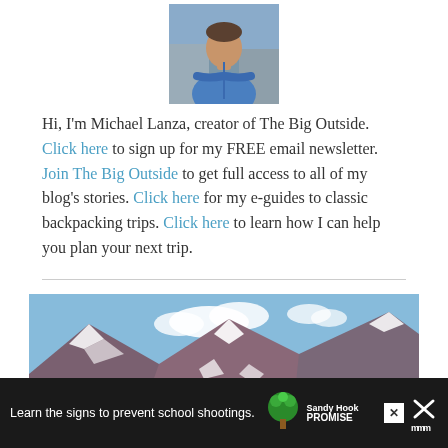[Figure (photo): Profile photo of Michael Lanza, a man in a blue jacket with arms crossed, outdoors against a rocky background]
Hi, I'm Michael Lanza, creator of The Big Outside. Click here to sign up for my FREE email newsletter. Join The Big Outside to get full access to all of my blog's stories. Click here for my e-guides to classic backpacking trips. Click here to learn how I can help you plan your next trip.
[Figure (photo): Mountain landscape with rocky peaks, snow patches, blue sky with clouds, and dark conifer trees in the foreground]
[Figure (infographic): Dark advertisement bar at bottom: 'Learn the signs to prevent school shootings.' with Sandy Hook Promise logo and close buttons]